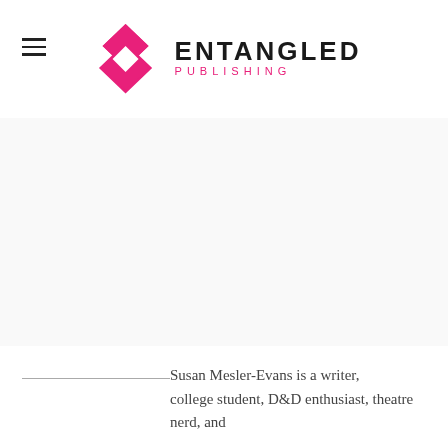ENTANGLED PUBLISHING
[Figure (logo): Entangled Publishing logo with pink diamond/infinity knot symbol and bold text 'ENTANGLED' with 'PUBLISHING' in pink beneath]
Susan Mesler-Evans is a writer, college student, D&D enthusiast, theatre nerd, and